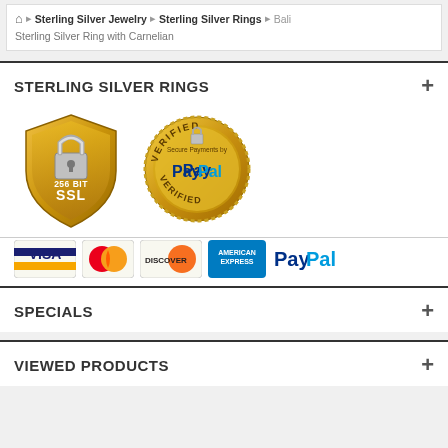Home > Sterling Silver Jewelry > Sterling Silver Rings > Bali Sterling Silver Ring with Carnelian
STERLING SILVER RINGS
[Figure (logo): 256 Bit SSL security badge (gold shield with padlock) and PayPal Verified Secure Payments badge (gold coin seal)]
[Figure (logo): Payment method logos: Visa, Mastercard, Discover, American Express, PayPal]
SPECIALS
VIEWED PRODUCTS